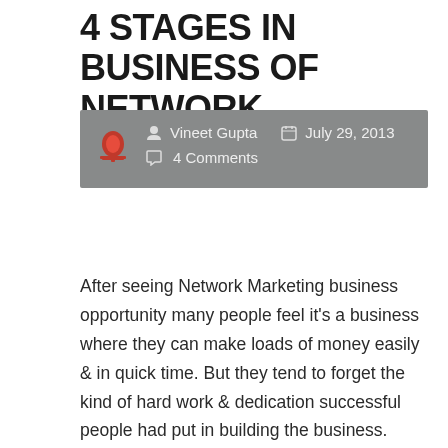4 STAGES IN BUSINESS OF NETWORK MARKETING
Vineet Gupta   July 29, 2013   4 Comments
After seeing Network Marketing business opportunity many people feel it's a business where they can make loads of money easily & in quick time. But they tend to forget the kind of hard work & dedication successful people had put in building the business. They don't